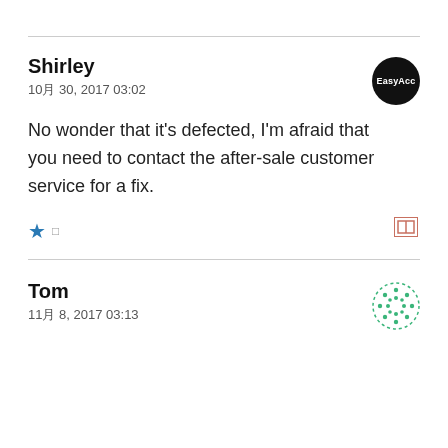Shirley
10月 30, 2017 03:02
No wonder that it's defected, I'm afraid that you need to contact the after-sale customer service for a fix.
★ □
Tom
11月 8, 2017 03:13